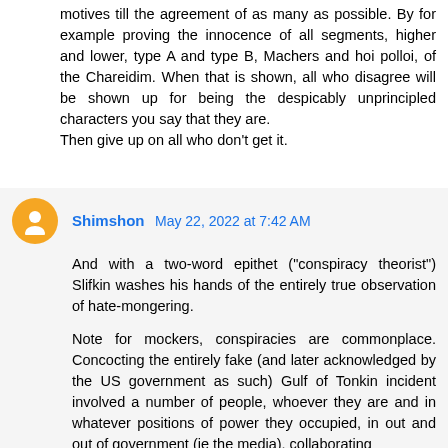motives till the agreement of as many as possible. By for example proving the innocence of all segments, higher and lower, type A and type B, Machers and hoi polloi, of the Chareidim. When that is shown, all who disagree will be shown up for being the despicably unprincipled characters you say that they are.
Then give up on all who don't get it.
Shimshon May 22, 2022 at 7:42 AM
And with a two-word epithet ("conspiracy theorist") Slifkin washes his hands of the entirely true observation of hate-mongering.
Note for mockers, conspiracies are commonplace. Concocting the entirely fake (and later acknowledged by the US government as such) Gulf of Tonkin incident involved a number of people, whoever they are and in whatever positions of power they occupied, in out and out of government (ie the media), collaborating